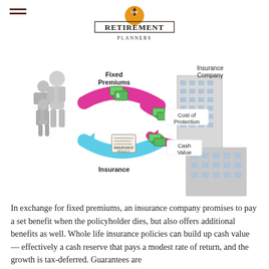[Figure (logo): The Retirement Planners logo — orange circular badge with arrow on top, serif text RETIREMENT in large bold letters, THE above and PLANNERS below]
[Figure (infographic): Insurance flow diagram showing a family (gray figurines) on the left exchanging Fixed Premiums (cash icons, pink arrow going right) with an Insurance Company (gray building on right). A blue arrow returns an Insurance Policy document labeled 'Insurance' back to the family. Two pink arrows from the building show Cost of Protection and Cash Value going back toward the family.]
In exchange for fixed premiums, an insurance company promises to pay a set benefit when the policyholder dies, but also offers additional benefits as well. Whole life insurance policies can build up cash value — effectively a cash reserve that pays a modest rate of return, and the growth is tax-deferred. Guarantees are